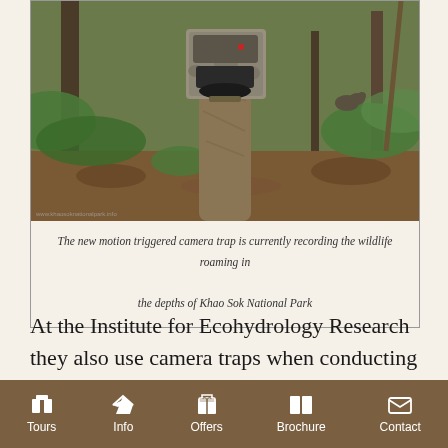[Figure (photo): A motion-triggered camera trap mounted on a tree trunk in a forest, with green foliage and leaf litter in the background at Khao Sok National Park]
The new motion triggered camera trap is currently recording the wildlife roaming in the depths of Khao Sok National Park
At the Institute for Ecohydrology Research they also use camera traps when conducting scientific studies on wetlands and other aquatic ecosystems
Tours | Info | Offers | Brochure | Contact